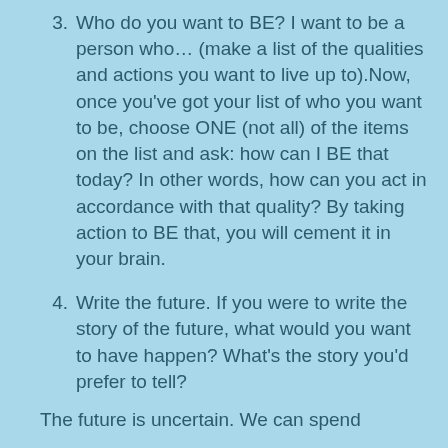3. Who do you want to BE? I want to be a person who… (make a list of the qualities and actions you want to live up to).Now, once you've got your list of who you want to be, choose ONE (not all) of the items on the list and ask: how can I BE that today? In other words, how can you act in accordance with that quality? By taking action to BE that, you will cement it in your brain.
4. Write the future. If you were to write the story of the future, what would you want to have happen? What's the story you'd prefer to tell?
The future is uncertain. We can spend